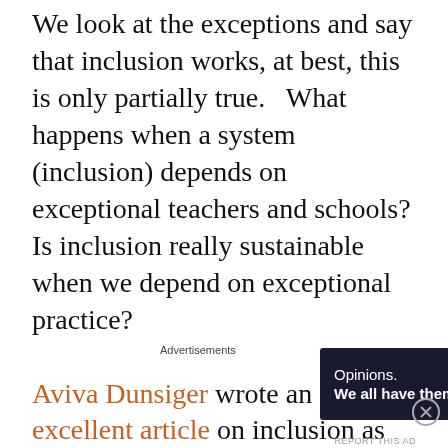We look at the exceptions and say that inclusion works, at best, this is only partially true.   What happens when a system (inclusion) depends on exceptional teachers and schools? Is inclusion really sustainable when we depend on exceptional practice?

Aviva Dunsiger wrote an excellent article on inclusion as part of this debate. This is a sensitive, reflective piece and it does show that inclusion can work in some circumstances. Aviva made some wholesale changes to her classroom and the learning
Advertisements
[Figure (other): Advertisement banner with dark navy background showing text 'Opinions. We all have them!' with WordPress and another circular logo on the right side, and a close button (X circle) to the far right.]